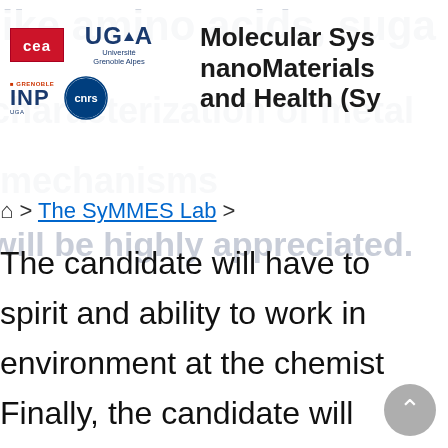[Figure (logo): CEA, UGA (Université Grenoble Alpes), Grenoble INP UGA, and CNRS logos arranged in two rows on the left side of the header]
Molecular Systems nanoMaterials and Health (Sy...
🏠 > The SyMMES Lab >
The candidate will have to
spirit and ability to work in
environment at the chemist
Finally, the candidate will